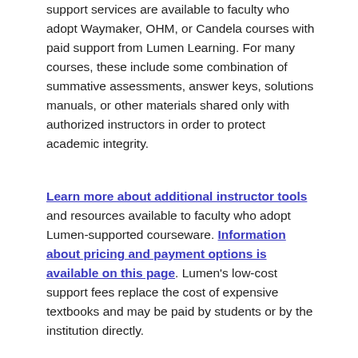support services are available to faculty who adopt Waymaker, OHM, or Candela courses with paid support from Lumen Learning. For many courses, these include some combination of summative assessments, answer keys, solutions manuals, or other materials shared only with authorized instructors in order to protect academic integrity.
Learn more about additional instructor tools and resources available to faculty who adopt Lumen-supported courseware. Information about pricing and payment options is available on this page. Lumen's low-cost support fees replace the cost of expensive textbooks and may be paid by students or by the institution directly.
Continuously Improving Learning Materials